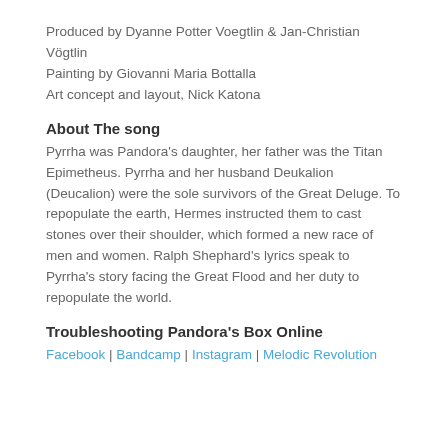Produced by Dyanne Potter Voegtlin & Jan-Christian Vögtlin
Painting by Giovanni Maria Bottalla
Art concept and layout, Nick Katona
About The song
Pyrrha was Pandora's daughter, her father was the Titan Epimetheus. Pyrrha and her husband Deukalion (Deucalion) were the sole survivors of the Great Deluge. To repopulate the earth, Hermes instructed them to cast stones over their shoulder, which formed a new race of men and women. Ralph Shephard's lyrics speak to Pyrrha's story facing the Great Flood and her duty to repopulate the world.
Troubleshooting Pandora's Box Online
Facebook | Bandcamp | Instagram | Melodic Revolution